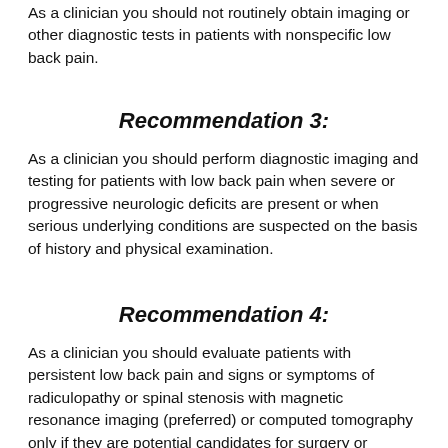As a clinician you should not routinely obtain imaging or other diagnostic tests in patients with nonspecific low back pain.
Recommendation 3:
As a clinician you should perform diagnostic imaging and testing for patients with low back pain when severe or progressive neurologic deficits are present or when serious underlying conditions are suspected on the basis of history and physical examination.
Recommendation 4:
As a clinician you should evaluate patients with persistent low back pain and signs or symptoms of radiculopathy or spinal stenosis with magnetic resonance imaging (preferred) or computed tomography only if they are potential candidates for surgery or epidural steroid injection (for suspected radiculopathy).